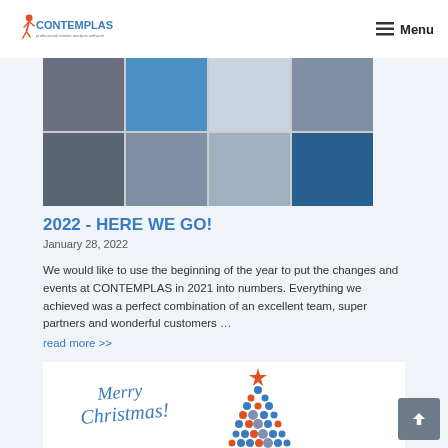CONTEMPLAS — professional motion analysis software | Menu
[Figure (photo): Grid of 8 sports/fitness photos showing gym, swimming pool lanes, weightlifting, group training, and exercise equipment]
2022 - HERE WE GO!
January 28, 2022
We would like to use the beginning of the year to put the changes and events at CONTEMPLAS in 2021 into numbers. Everything we achieved was a perfect combination of an excellent team, super partners and wonderful customers …
read more >>
[Figure (illustration): Merry Christmas greeting card with a decorative Christmas tree made of blue and orange circles/dots with people photos, topped with an orange star, and cursive 'Merry Christmas!' text on the left]